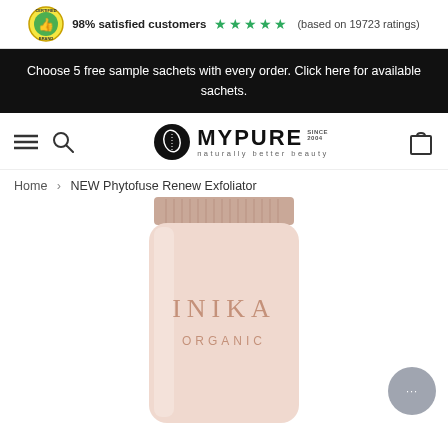98% satisfied customers ★★★★★ (based on 19723 ratings)
Choose 5 free sample sachets with every order. Click here for available sachets.
[Figure (logo): MYPURE naturally better beauty logo with leaf icon, since 2004]
Home > NEW Phytofuse Renew Exfoliator
[Figure (photo): INIKA ORGANIC skincare tube product — Phytofuse Renew Exfoliator in pale pink packaging with ribbed cap]